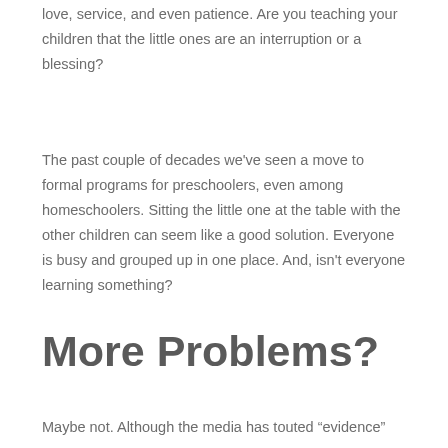love, service, and even patience. Are you teaching your children that the little ones are an interruption or a blessing?
The past couple of decades we've seen a move to formal programs for preschoolers, even among homeschoolers. Sitting the little one at the table with the other children can seem like a good solution. Everyone is busy and grouped up in one place. And, isn't everyone learning something?
More Problems?
Maybe not. Although the media has touted “evidence”